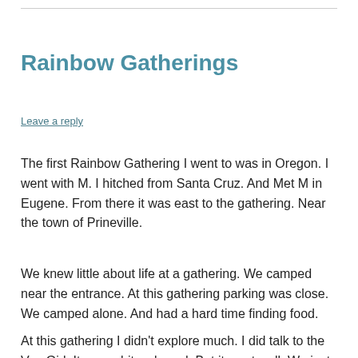Rainbow Gatherings
Leave a reply
The first Rainbow Gathering I went to was in Oregon. I went with M. I hitched from Santa Cruz. And Met M in Eugene. From there it was east to the gathering. Near the town of Prineville.
We knew little about life at a gathering. We camped near the entrance. At this gathering parking was close. We camped alone. And had a hard time finding food.
At this gathering I didn't explore much. I did talk to the Van Girl. It was a bit awkward. But it went well. We just chatted about what happened before. She asked about some shorts